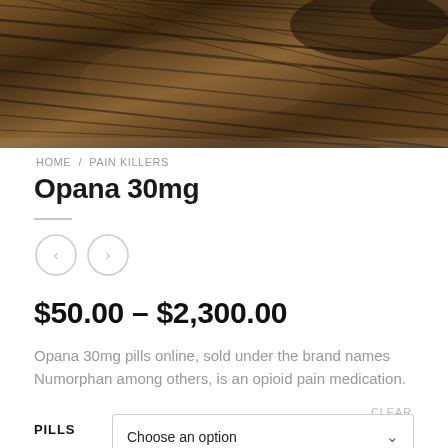[Figure (photo): Close-up photo of dark brown wood grain texture with diagonal streaks]
HOME / PAIN KILLERS
Opana 30mg
$50.00 – $2,300.00
Opana 30mg pills online, sold under the brand names Numorphan among others, is an opioid pain medication.
CLEAR
PILLS
Choose an option